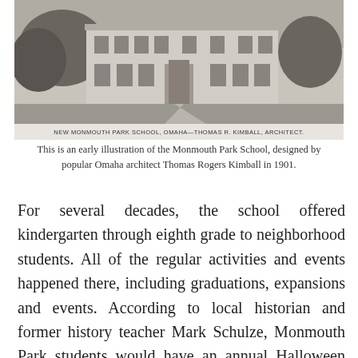[Figure (photo): Black and white historical illustration of the Monmouth Park School building in Omaha, designed by Thomas R. Kimball. The image shows a large multi-story brick school building with trees around it. Below the image a caption reads: NEW MONMOUTH PARK SCHOOL, OMAHA—THOMAS R. KIMBALL, ARCHITECT.]
This is an early illustration of the Monmouth Park School, designed by popular Omaha architect Thomas Rogers Kimball in 1901.
For several decades, the school offered kindergarten through eighth grade to neighborhood students. All of the regular activities and events happened there, including graduations, expansions and events. According to local historian and former history teacher Mark Schulze, Monmouth Park students would have an annual Halloween parade up Ames Avenue to the Immanuel Deaconess Institute, back through the complex grounds past the hospital, home for elderly and other wings, then home to the school.